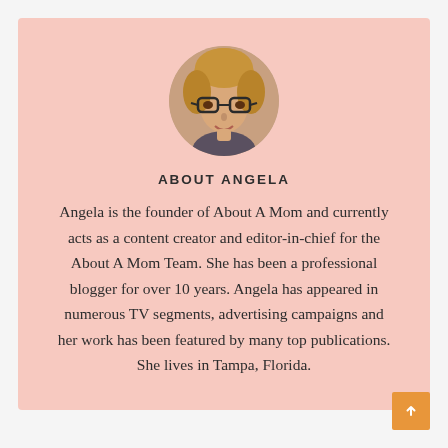[Figure (photo): Circular portrait photo of Angela, a woman with glasses and blonde hair]
ABOUT ANGELA
Angela is the founder of About A Mom and currently acts as a content creator and editor-in-chief for the About A Mom Team. She has been a professional blogger for over 10 years. Angela has appeared in numerous TV segments, advertising campaigns and her work has been featured by many top publications. She lives in Tampa, Florida.